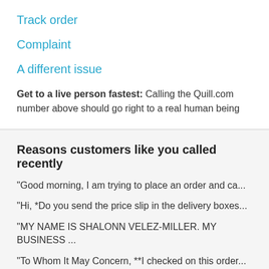Track order
Complaint
A different issue
Get to a live person fastest: Calling the Quill.com number above should go right to a real human being
Reasons customers like you called recently
"Good morning, I am trying to place an order and ca...
"Hi, *Do you send the price slip in the delivery boxes...
"MY NAME IS SHALONN VELEZ-MILLER. MY BUSINESS ...
"To Whom It May Concern, **I checked on this order...
"I have a request for payment but not sure what it is...